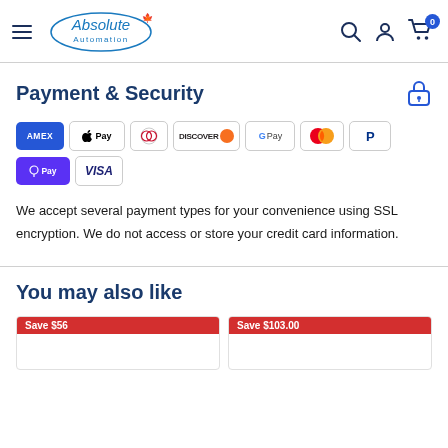Absolute Automation
Payment & Security
[Figure (other): Payment method icons: American Express, Apple Pay, Diners Club, Discover, Google Pay, Mastercard, PayPal, Shop Pay, Visa]
We accept several payment types for your convenience using SSL encryption. We do not access or store your credit card information.
You may also like
[Figure (other): Two product cards at the bottom with red 'Save' badges showing prices: Save $56 and Save $103.00]